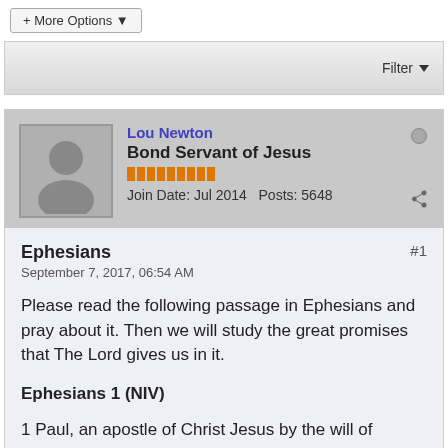+ More Options ▾
Filter ▼
Lou Newton
Bond Servant of Jesus
Join Date: Jul 2014    Posts: 5648
Ephesians
September 7, 2017, 06:54 AM
#1
Please read the following passage in Ephesians and pray about it. Then we will study the great promises that The Lord gives us in it.
Ephesians 1 (NIV)
1 Paul, an apostle of Christ Jesus by the will of